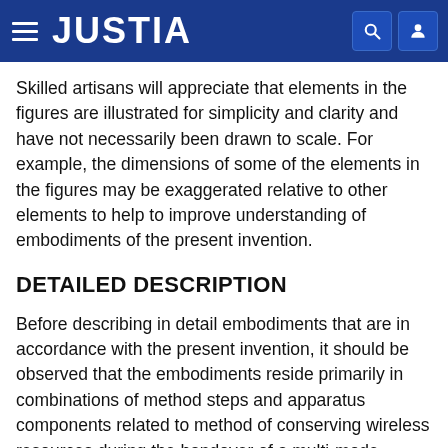JUSTIA
Skilled artisans will appreciate that elements in the figures are illustrated for simplicity and clarity and have not necessarily been drawn to scale. For example, the dimensions of some of the elements in the figures may be exaggerated relative to other elements to help to improve understanding of embodiments of the present invention.
DETAILED DESCRIPTION
Before describing in detail embodiments that are in accordance with the present invention, it should be observed that the embodiments reside primarily in combinations of method steps and apparatus components related to method of conserving wireless resources during the handover of a multi-mode mobile device. Accordingly, the apparatus components and